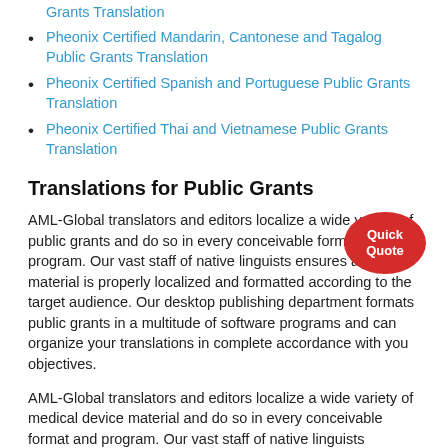Pheonix Certified Mandarin, Cantonese and Tagalog Public Grants Translation
Pheonix Certified Spanish and Portuguese Public Grants Translation
Pheonix Certified Thai and Vietnamese Public Grants Translation
Translations for Public Grants
AML-Global translators and editors localize a wide variety of public grants and do so in every conceivable format and program. Our vast staff of native linguists ensures all material is properly localized and formatted according to the target audience. Our desktop publishing department formats public grants in a multitude of software programs and can organize your translations in complete accordance with you objectives.
AML-Global translators and editors localize a wide variety of medical device material and do so in every conceivable format and program. Our vast staff of native linguists ensures that all material is properly localized and formatted according